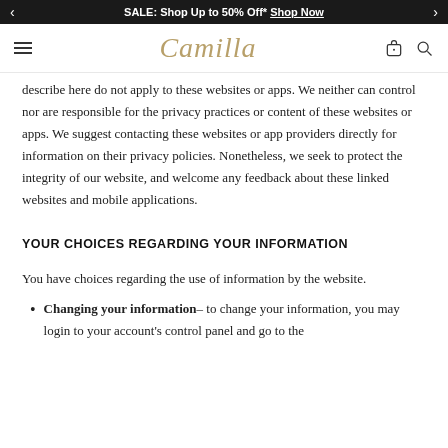SALE: Shop Up to 50% Off* Shop Now
Camilla [navigation logo]
describe here do not apply to these websites or apps. We neither can control nor are responsible for the privacy practices or content of these websites or apps. We suggest contacting these websites or app providers directly for information on their privacy policies. Nonetheless, we seek to protect the integrity of our website, and welcome any feedback about these linked websites and mobile applications.
YOUR CHOICES REGARDING YOUR INFORMATION
You have choices regarding the use of information by the website.
Changing your information– to change your information, you may login to your account's control panel and go to the